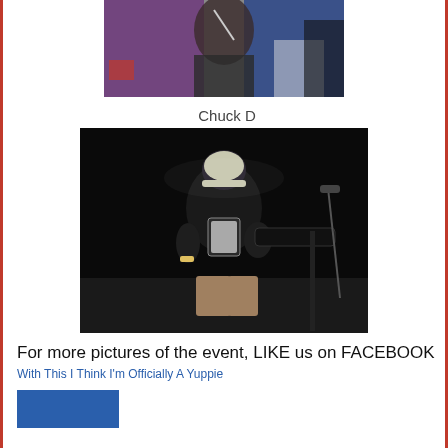[Figure (photo): Top portion of a concert photo showing a performer on stage with purple/blue lighting]
Chuck D
[Figure (photo): A heavyset man wearing a baseball cap and graphic t-shirt playing guitar on a dark stage]
For more pictures of the event, LIKE us on FACEBOOK
With This I Think I'm Officially A Yuppie
[Figure (other): Partial blue image at bottom, likely a Facebook logo or button]